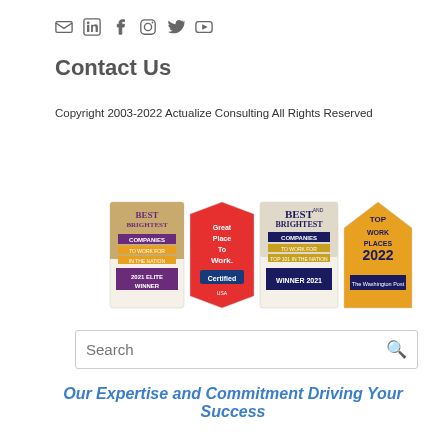[Figure (infographic): Social media icons: email, LinkedIn, Facebook, Instagram, Twitter, YouTube]
Contact Us
Copyright 2003-2022 Actualize Consulting All Rights Reserved
[Figure (infographic): Four award badges: Best and Brightest Companies 2021 Elite Winner, Great Place To Work Certified USA, Best and Brightest Companies Winner 2021, Top Work Places 2022 The Washington Post]
Search
Our Expertise and Commitment Driving Your Success